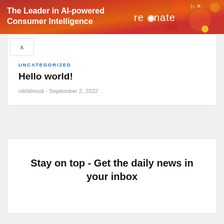[Figure (illustration): Advertisement banner for Resonate AI-powered Consumer Intelligence platform with red-orange gradient background and white text]
UNCATEGORIZED
Hello world!
nikhilmodi  -  September 2, 2022
Stay on top - Get the daily news in your inbox